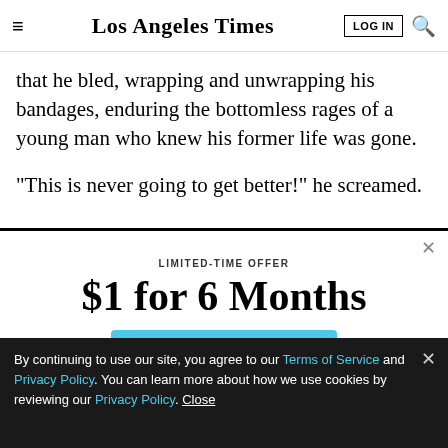Los Angeles Times | LOG IN
that he bled, wrapping and unwrapping his bandages, enduring the bottomless rages of a young man who knew his former life was gone.

"This is never going to get better!" he screamed.
LIMITED-TIME OFFER
$1 for 6 Months
SUBSCRIBE NOW
By continuing to use our site, you agree to our Terms of Service and Privacy Policy. You can learn more about how we use cookies by reviewing our Privacy Policy. Close